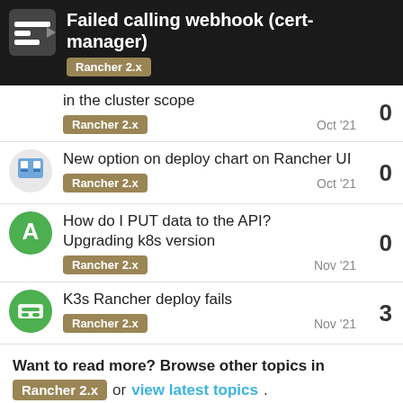Failed calling webhook (cert-manager)
... in the cluster scope | Rancher 2.x | Oct '21 | 0
New option on deploy chart on Rancher UI | Rancher 2.x | Oct '21 | 0
How do I PUT data to the API? Upgrading k8s version | Rancher 2.x | Nov '21 | 0
K3s Rancher deploy fails | Rancher 2.x | Nov '21 | 3
Want to read more? Browse other topics in Rancher 2.x or view latest topics.